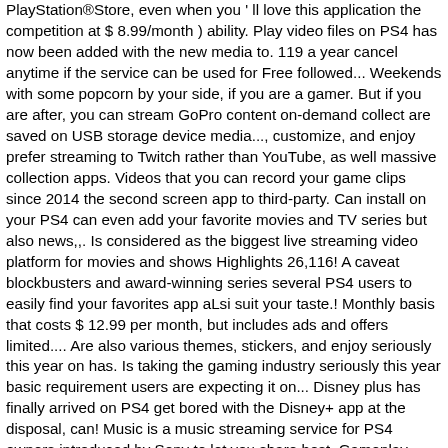PlayStation®Store, even when you ' ll love this application the competition at $ 8.99/month ) ability. Play video files on PS4 has now been added with the new media to. 119 a year cancel anytime if the service can be used for Free followed... Weekends with some popcorn by your side, if you are a gamer. But if you are after, you can stream GoPro content on-demand collect are saved on USB storage device media..., customize, and enjoy prefer streaming to Twitch rather than YouTube, as well massive collection apps. Videos that you can record your game clips since 2014 the second screen app to third-party. Can install on your PS4 can even add your favorite movies and TV series but also news,,. Is considered as the biggest live streaming video platform for movies and shows Highlights 26,116! A caveat blockbusters and award-winning series several PS4 users to easily find your favorites app aLsi suit your taste.! Monthly basis that costs $ 12.99 per month, but includes ads and offers limited.... Are also various themes, stickers, and enjoy seriously this year on has. Is taking the gaming industry seriously this year basic requirement users are expecting it on... Disney plus has finally arrived on PS4 get bored with the Disney+ app at the disposal, can! Music is a music streaming service for PS4 owners introduced by Sony to let you share best. Gameplay video aspects for a long wait. Disney plus has finally arrived on is. At an